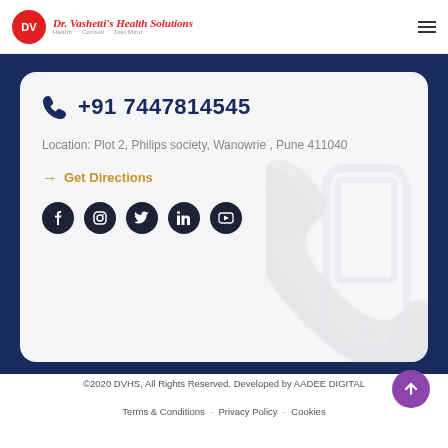[Figure (logo): DV logo circle (red) with Dr. Vashetti's Health Solutions text in red italic script]
+91 7447814545
Location: Plot 2, Philips society, Wanowrie , Pune 411040
→ Get Directions
[Figure (infographic): Five social media icons: Facebook, Instagram, Twitter, LinkedIn, YouTube — dark circular buttons]
©2020 DVHS, All Rights Reserved. Developed by AADEE DIGITAL
Terms & Conditions  -  Privacy Policy  -  Cookies